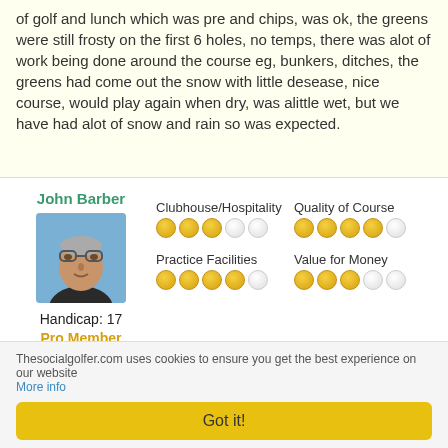of golf and lunch which was pre and chips, was ok, the greens were still frosty on the first 6 holes, no temps, there was alot of work being done around the course eg, bunkers, ditches, the greens had come out the snow with little desease, nice course, would play again when dry, was alittle wet, but we have had alot of snow and rain so was expected.
John Barber
[Figure (photo): Profile photo of reviewer John Barber, a middle-aged man with glasses on his head]
Handicap: 17
Pro Member
Clubhouse/Hospitality — 3 out of 5 stars
Quality of Course — 3.5 out of 5 stars
Practice Facilities — 4 out of 5 stars
Value for Money — 3 out of 5 stars
17 Dec 2012, 20:15
Thesocialgolfer.com uses cookies to ensure you get the best experience on our website. More info
Got it!